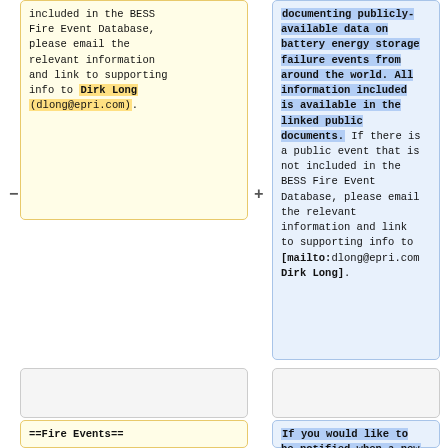included in the BESS Fire Event Database, please email the relevant information and link to supporting info to Dirk Long (dlong@epri.com).
documenting publicly-available data on battery energy storage failure events from around the world. All information included is available in the linked public documents. If there is a public event that is not included in the BESS Fire Event Database, please email the relevant information and link to supporting info to [mailto:dlong@epri.com Dirk Long].
==Fire Events==
If you would like to be notified when a new